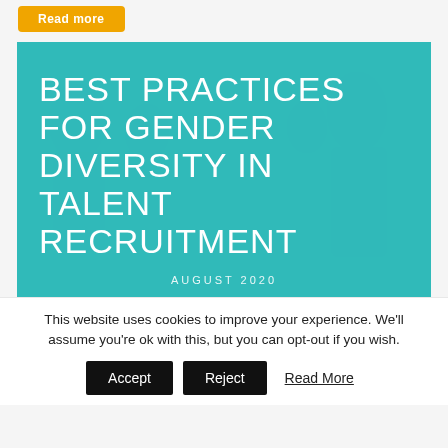[Figure (illustration): Orange 'Read more' button at top of page on light grey background]
[Figure (photo): Hero image with teal/turquoise overlay over a photo of people, displaying the text 'BEST PRACTICES FOR GENDER DIVERSITY IN TALENT RECRUITMENT' and 'AUGUST 2020' in white text]
This website uses cookies to improve your experience. We'll assume you're ok with this, but you can opt-out if you wish.
Accept | Reject | Read More